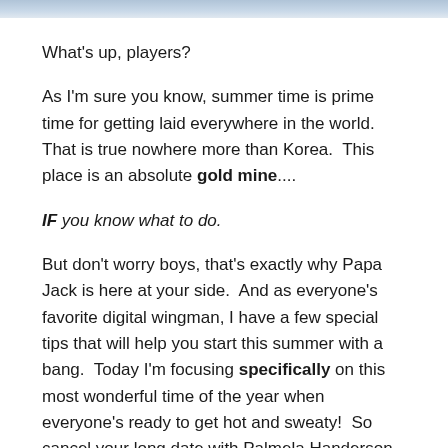[Figure (photo): Partial image strip at the top of the page, appears to be a cropped photo]
What's up, players?
As I'm sure you know, summer time is prime time for getting laid everywhere in the world.  That is true nowhere more than Korea.  This place is an absolute gold mine....
IF you know what to do.
But don't worry boys, that's exactly why Papa Jack is here at your side.  And as everyone's favorite digital wingman, I have a few special tips that will help you start this summer with a bang.  Today I'm focusing specifically on this most wonderful time of the year when everyone's ready to get hot and sweaty!  So cancel your long date with Palmela Handerson and get ready to go